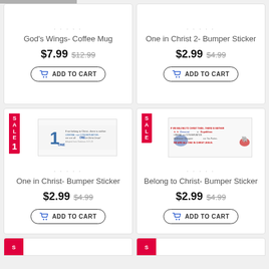[Figure (screenshot): E-commerce product grid showing 4 items and partial 5th row]
God's Wings- Coffee Mug
$7.99  $12.99
ADD TO CART
One in Christ 2- Bumper Sticker
$2.99  $4.99
ADD TO CART
One in Christ- Bumper Sticker
$2.99  $4.99
ADD TO CART
Belong to Christ- Bumper Sticker
$2.99  $4.99
ADD TO CART